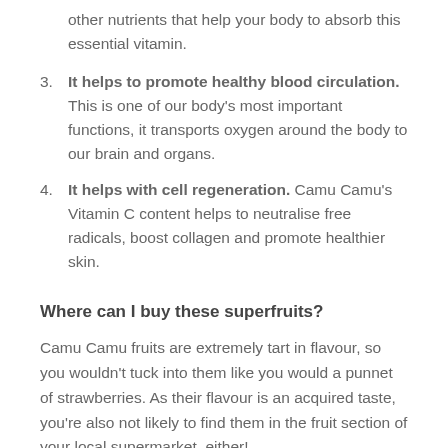other nutrients that help your body to absorb this essential vitamin.
It helps to promote healthy blood circulation. This is one of our body's most important functions, it transports oxygen around the body to our brain and organs.
It helps with cell regeneration. Camu Camu's Vitamin C content helps to neutralise free radicals, boost collagen and promote healthier skin.
Where can I buy these superfruits?
Camu Camu fruits are extremely tart in flavour, so you wouldn't tuck into them like you would a punnet of strawberries. As their flavour is an acquired taste, you're also not likely to find them in the fruit section of your local supermarket, either!